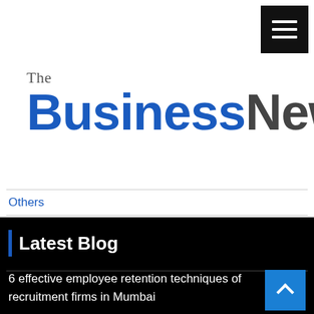[Figure (logo): Hamburger menu button (three white horizontal bars on black background) in top right corner]
The BusinessNews
Others
Small Business Opportunities
Latest Blog
6 effective employee retention techniques of recruitment firms in Mumbai